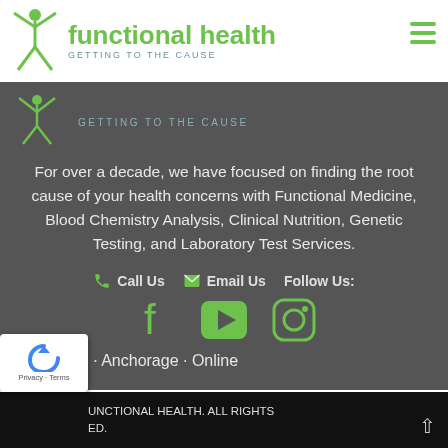functional health — GETTING TO THE CAUSE
GETTING TO THE CAUSE
For over a decade, we have focused on finding the root cause of your health concerns with Functional Medicine, Blood Chemistry Analysis, Clinical Nutrition, Genetic Testing, and Laboratory Test Services.
Call Us   Email Us   Follow Us:
[Figure (logo): Functional Health logo with green figure and text]
San Diego · Anchorage · Online
FUNCTIONAL HEALTH. ALL RIGHTS RESERVED.